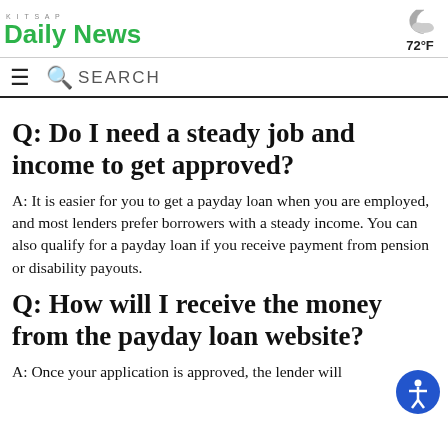KITSAP Daily News  72°F
SEARCH
Q: Do I need a steady job and income to get approved?
A: It is easier for you to get a payday loan when you are employed, and most lenders prefer borrowers with a steady income. You can also qualify for a payday loan if you receive payment from pension or disability payouts.
Q: How will I receive the money from the payday loan website?
A: Once your application is approved, the lender will